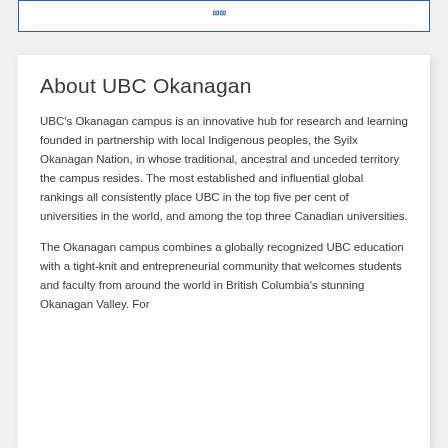About UBC Okanagan
UBC's Okanagan campus is an innovative hub for research and learning founded in partnership with local Indigenous peoples, the Syilx Okanagan Nation, in whose traditional, ancestral and unceded territory the campus resides. The most established and influential global rankings all consistently place UBC in the top five per cent of universities in the world, and among the top three Canadian universities.
The Okanagan campus combines a globally recognized UBC education with a tight-knit and entrepreneurial community that welcomes students and faculty from around the world in British Columbia's stunning Okanagan Valley. For